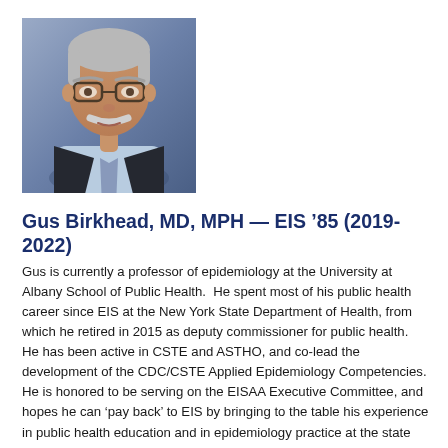[Figure (photo): Headshot of Gus Birkhead, an older man with glasses and a white mustache, wearing a dark jacket and light blue shirt, photographed against a gray-blue background.]
Gus Birkhead, MD, MPH — EIS '85 (2019-2022)
Gus is currently a professor of epidemiology at the University at Albany School of Public Health.  He spent most of his public health career since EIS at the New York State Department of Health, from which he retired in 2015 as deputy commissioner for public health.  He has been active in CSTE and ASTHO, and co-lead the development of the CDC/CSTE Applied Epidemiology Competencies.  He is honored to be serving on the EISAA Executive Committee, and hopes he can 'pay back' to EIS by bringing to the table his experience in public health education and in epidemiology practice at the state health department level.